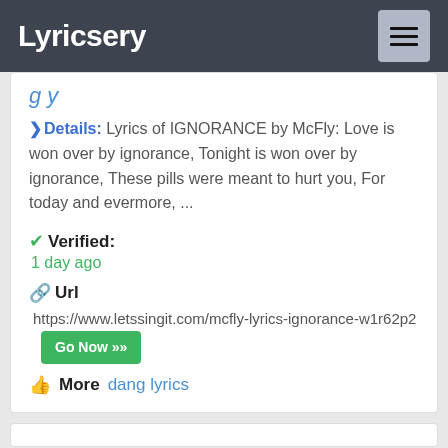Lyricsery
Details: Lyrics of IGNORANCE by McFly: Love is won over by ignorance, Tonight is won over by ignorance, These pills were meant to hurt you, For today and evermore, ...
Verified: 1 day ago
Url https://www.letssingit.com/mcfly-lyrics-ignorance-w1r62p2 Go Now >>
More dang lyrics